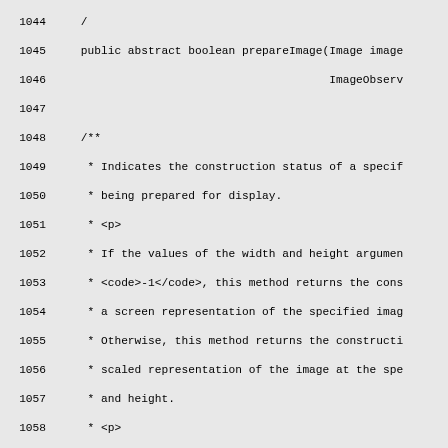Source code listing lines 1044-1074 showing a Java method prepareImage with Javadoc comments explaining parameters and behavior